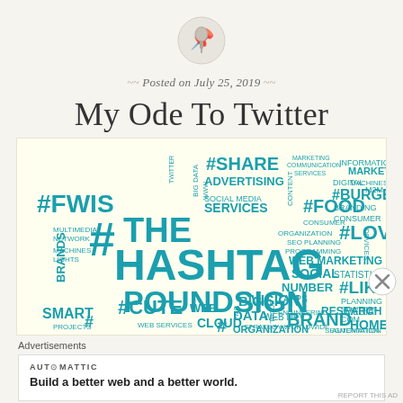[Figure (other): Circular push-pin / thumbtack icon in a light grey circle]
Posted on July 25, 2019
My Ode To Twitter
[Figure (infographic): Word cloud on pale yellow background featuring hashtag-related terms: #SHARE, ADVERTISING, #FWIS, SOCIAL MEDIA, SERVICES, MULTIMEDIA NETWORK, MACHINES, LIGHTS, BRANDS, #THE, #HASHTAG, #POUNDSIGN, #CUTE, SMART, PROJECTS, WEB SERVICES, CLOUD, #FOOD, CONSUMER, ORGANIZATION, SEO, PROGRAMMING, INFORMATION, DIGITAL, MARKET, MACHINES, M2M, #BURGER, BRANDING, CONSUMER, #LOVE, WEB MARKETING, SOCIAL, STATISTICS, NUMBER, #LIKE, APPS, PLANNING, MEDIA, SOLUTIONS, ENGINEERING, RESEARCH, BRAND, COM, HOME, AUTOMATION, ORGANIZATION, SEGMENTATION, BIG DATA, VISION, WEB DEV, STRATEGY, WORLDWIDE, PMC, FOCUS, EVERYTHING]
Advertisements
AUTOMATTIC
Build a better web and a better world.